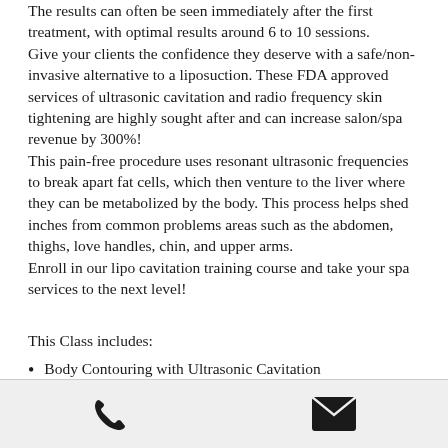The results can often be seen immediately after the first treatment, with optimal results around 6 to 10 sessions.
Give your clients the confidence they deserve with a safe/non-invasive alternative to a liposuction. These FDA approved services of ultrasonic cavitation and radio frequency skin tightening are highly sought after and can increase salon/spa revenue by 300%!
This pain-free procedure uses resonant ultrasonic frequencies to break apart fat cells, which then venture to the liver where they can be metabolized by the body. This process helps shed inches from common problems areas such as the abdomen, thighs, love handles, chin, and upper arms.
Enroll in our lipo cavitation training course and take your spa services to the next level!
This Class includes:
Body Contouring with Ultrasonic Cavitation
Non-Invasive Lipo Treatments
phone icon | email icon